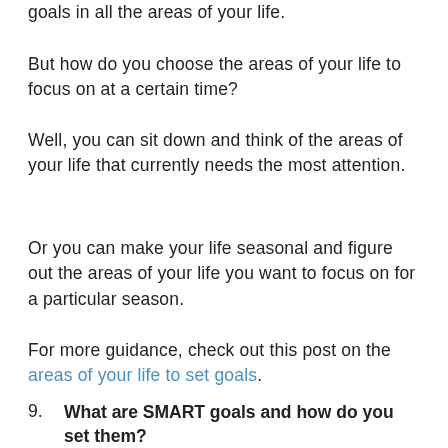goals in all the areas of your life.
But how do you choose the areas of your life to focus on at a certain time?
Well, you can sit down and think of the areas of your life that currently needs the most attention.
Or you can make your life seasonal and figure out the areas of your life you want to focus on for a particular season.
For more guidance, check out this post on the areas of your life to set goals.
9. What are SMART goals and how do you set them?